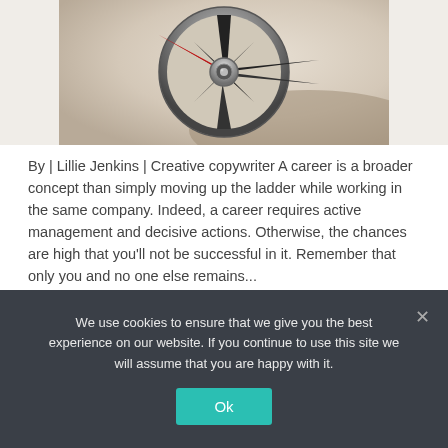[Figure (photo): Close-up photo of a compass with black metallic needle and red pointer tip against a warm beige/grey background, viewed from above at an angle.]
By | Lillie Jenkins | Creative copywriter A career is a broader concept than simply moving up the ladder while working in the same company. Indeed, a career requires active management and decisive actions. Otherwise, the chances are high that you'll not be successful in it. Remember that only you and no one else remains...
We use cookies to ensure that we give you the best experience on our website. If you continue to use this site we will assume that you are happy with it.